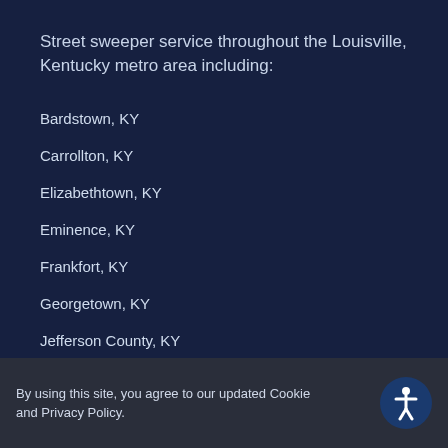Street sweeper service throughout the Louisville, Kentucky metro area including:
Bardstown, KY
Carrollton, KY
Elizabethtown, KY
Eminence, KY
Frankfort, KY
Georgetown, KY
Jefferson County, KY
LaGrange, KY
By using this site, you agree to our updated Cookie and Privacy Policy.